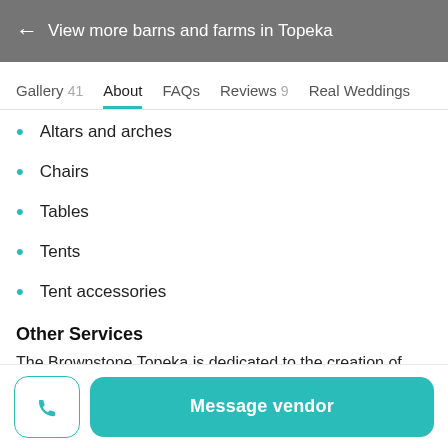← View more barns and farms in Topeka
Gallery 41   About   FAQs   Reviews 9   Real Weddings
Altars and arches
Chairs
Tables
Tents
Tent accessories
Other Services
The Brownstone Topeka is dedicated to the creation of seamless service, providing experienced bartenders who have the ability to curate signature drinks with precision and
Message vendor